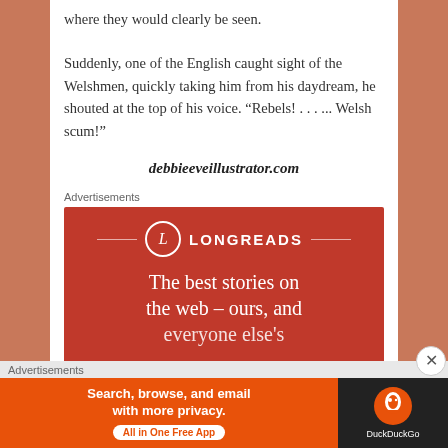where they would clearly be seen.
Suddenly, one of the English caught sight of the Welshmen, quickly taking him from his daydream, he shouted at the top of his voice. “Rebels! . . . ... Welsh scum!”
debbieeveillustrator.com
Advertisements
[Figure (other): Longreads advertisement banner: red background with Longreads logo and text 'The best stories on the web – ours, and everyone else's']
Advertisements
[Figure (other): DuckDuckGo advertisement banner: 'Search, browse, and email with more privacy. All in One Free App' with DuckDuckGo logo on dark background]